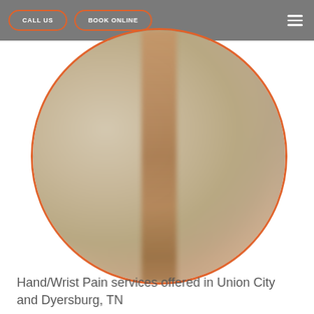CALL US   BOOK ONLINE
[Figure (photo): A blurry circular-cropped photo with an orange border, appearing to show a medical or clinical setting with stacked items and a person figure in the center]
Hand/Wrist Pain services offered in Union City and Dyersburg, TN